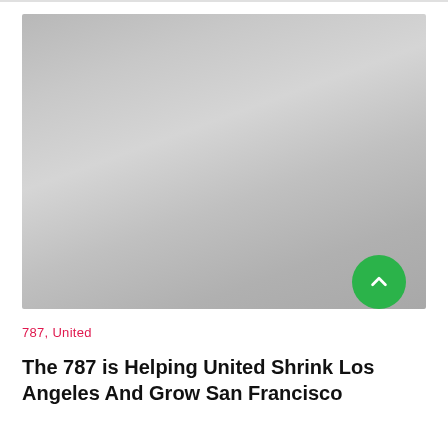[Figure (photo): Large gray/silver placeholder image of an aircraft or aviation-related photo, showing a smooth gradient from lighter gray in the upper right to darker gray in the lower left]
787, United
The 787 is Helping United Shrink Los Angeles And Grow San Francisco